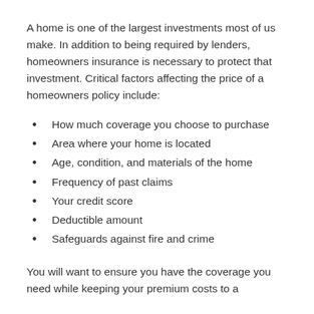A home is one of the largest investments most of us make. In addition to being required by lenders, homeowners insurance is necessary to protect that investment. Critical factors affecting the price of a homeowners policy include:
How much coverage you choose to purchase
Area where your home is located
Age, condition, and materials of the home
Frequency of past claims
Your credit score
Deductible amount
Safeguards against fire and crime
You will want to ensure you have the coverage you need while keeping your premium costs to a